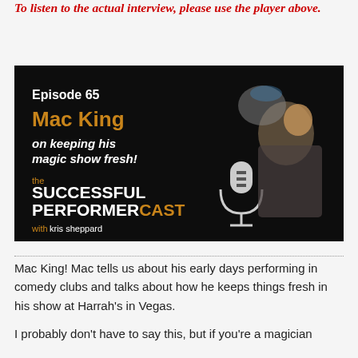To listen to the actual interview, please use the player above.
[Figure (photo): Podcast episode artwork showing Episode 65 with Mac King on keeping his magic show fresh! The Successful Performer Cast with Kris Sheppard. Black background with a man in a plaid jacket holding a fishbowl over his head with water and fish splashing out.]
Mac King! Mac tells us about his early days performing in comedy clubs and talks about how he keeps things fresh in his show at Harrah's in Vegas.
I probably don't have to say this, but if you're a magician